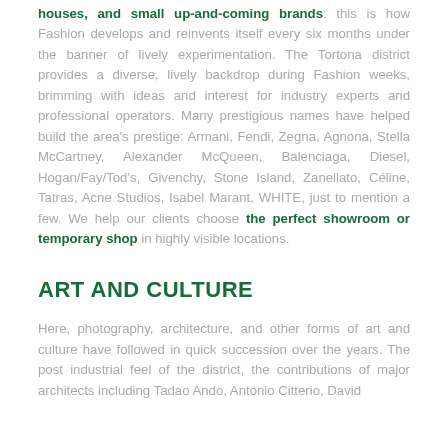houses, and small up-and-coming brands: this is how Fashion develops and reinvents itself every six months under the banner of lively experimentation. The Tortona district provides a diverse, lively backdrop during Fashion weeks, brimming with ideas and interest for industry experts and professional operators. Many prestigious names have helped build the area's prestige: Armani, Fendi, Zegna, Agnona, Stella McCartney, Alexander McQueen, Balenciaga, Diesel, Hogan/Fay/Tod's, Givenchy, Stone Island, Zanellato, Céline, Tatras, Acne Studios, Isabel Marant, WHITE, just to mention a few. We help our clients choose the perfect showroom or temporary shop in highly visible locations.
ART AND CULTURE
Here, photography, architecture, and other forms of art and culture have followed in quick succession over the years. The post industrial feel of the district, the contributions of major architects including Tadao Ando, Antonio Citterio, David